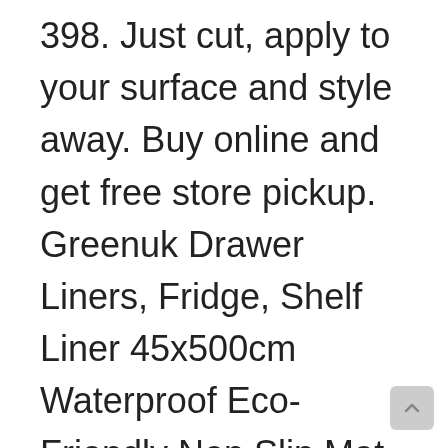398. Just cut, apply to your surface and style away. Buy online and get free store pickup. Greenuk Drawer Liners, Fridge, Shelf Liner 45x500cm Waterproof Eco-Friendly Non Slip Mat LFGB Certified Cupboard Cabinet Pad. 2014 - Start with Lowe's for appliances, paint, patio furniture, tools, flooring, home